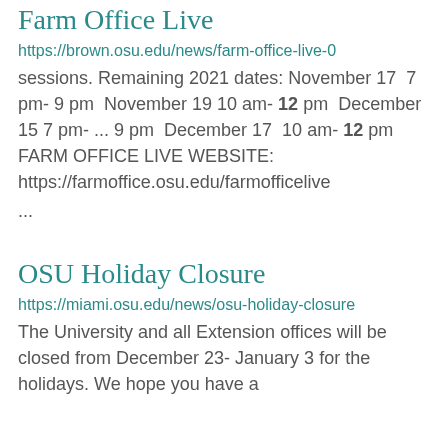Farm Office Live
https://brown.osu.edu/news/farm-office-live-0 sessions. Remaining 2021 dates: November 17  7 pm- 9 pm  November 19 10 am- 12 pm  December 15 7 pm- ... 9 pm  December 17  10 am- 12 pm  FARM OFFICE LIVE WEBSITE: https://farmoffice.osu.edu/farmofficelive
...
OSU Holiday Closure
https://miami.osu.edu/news/osu-holiday-closure The University and all Extension offices will be closed from December 23- January 3 for the holidays. We hope you have a